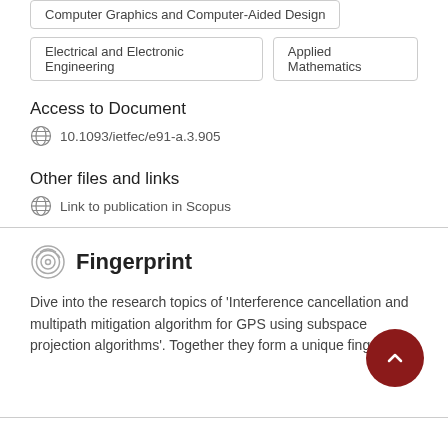Computer Graphics and Computer-Aided Design
Electrical and Electronic Engineering
Applied Mathematics
Access to Document
10.1093/ietfec/e91-a.3.905
Other files and links
Link to publication in Scopus
Fingerprint
Dive into the research topics of 'Interference cancellation and multipath mitigation algorithm for GPS using subspace projection algorithms'. Together they form a unique fingerprint.